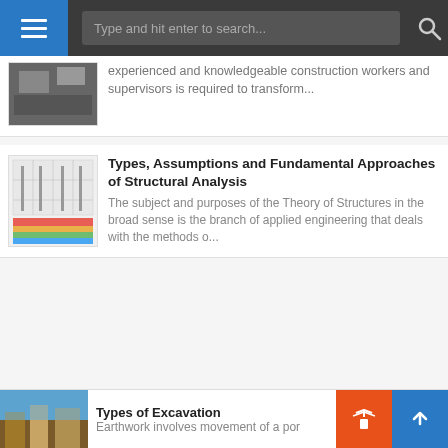Navigation bar with menu and search
experienced and knowledgeable construction workers and supervisors is required to transform…
Types, Assumptions and Fundamental Approaches of Structural Analysis
The subject and purposes of the Theory of Structures in the broad sense is the branch of applied engineering that deals with the methods o…
Types of Excavation
Earthwork involves movement of a por…